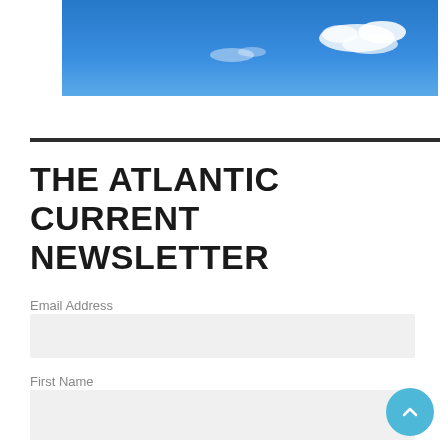[Figure (photo): Blue sky with white clouds photograph used as header banner image]
THE ATLANTIC CURRENT NEWSLETTER
Email Address
First Name